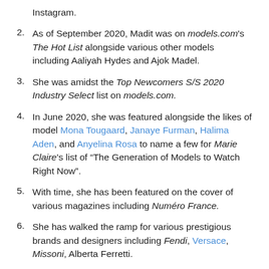Instagram.
As of September 2020, Madit was on models.com's The Hot List alongside various other models including Aaliyah Hydes and Ajok Madel.
She was amidst the Top Newcomers S/S 2020 Industry Select list on models.com.
In June 2020, she was featured alongside the likes of model Mona Tougaard, Janaye Furman, Halima Aden, and Anyelina Rosa to name a few for Marie Claire's list of “The Generation of Models to Watch Right Now”.
With time, she has been featured on the cover of various magazines including Numéro France.
She has walked the ramp for various prestigious brands and designers including Fendi, Versace, Missoni, Alberta Ferretti.